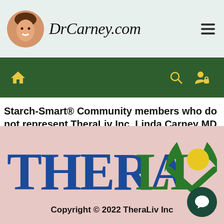DrCarney.com
[Figure (screenshot): Dark green navigation bar with yellow home icon on left and yellow search and user icons on right]
Starch-Smart® Community members who do not represent TheraLiv Inc, Linda Carney MD, or Sean Carney.
[Figure (logo): TheraLiv Inc logo — THERA in blue, LIV in green with a stylized V formed by two green leaves and a yellow circle sun]
Copyright © 2022 TheraLiv Inc